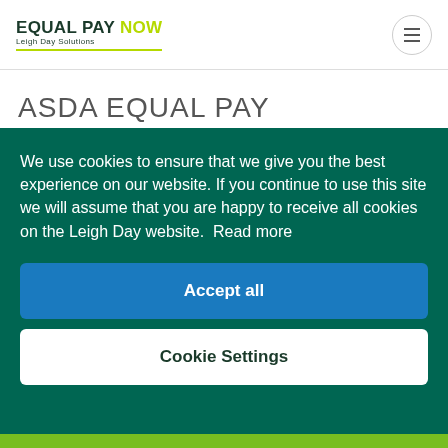EQUAL PAY NOW — Leigh Day Solutions
ASDA EQUAL PAY
We use cookies to ensure that we give you the best experience on our website. If you continue to use this site we will assume that you are happy to receive all cookies on the Leigh Day website. Read more
Accept all
Cookie Settings
[Figure (logo): ASDA logo in white text on green bar at bottom of page]